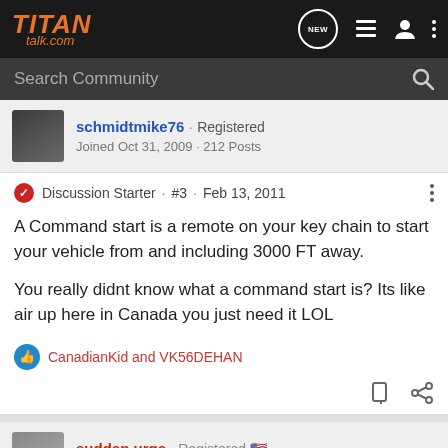TITAN talk.com
Search Community
schmidtmike76 · Registered
Joined Oct 31, 2009 · 212 Posts
Discussion Starter · #3 · Feb 13, 2011
A Command start is a remote on your key chain to start your vehicle from and including 3000 FT away.

You really didnt know what a command start is? Its like air up here in Canada you just need it LOL
CanadianKid and VK56DEHAN
sudden urge · Registered
Joined Jan 7, 2009 · 9,000 Posts